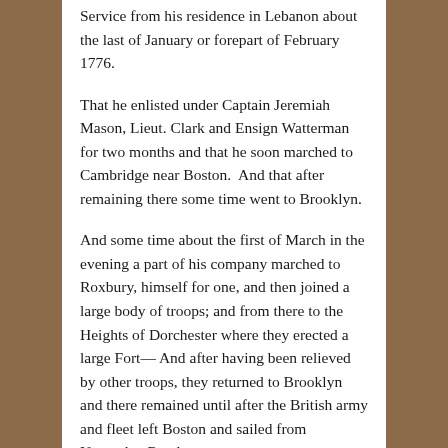Service from his residence in Lebanon about the last of January or forepart of February 1776.
That he enlisted under Captain Jeremiah Mason, Lieut. Clark and Ensign Watterman for two months and that he soon marched to Cambridge near Boston.  And that after remaining there some time went to Brooklyn.
And some time about the first of March in the evening a part of his company marched to Roxbury, himself for one, and then joined a large body of troops; and from there to the Heights of Dorchester where they erected a large Fort— And after having been relieved by other troops, they returned to Brooklyn and there remained until after the British army and fleet left Boston and sailed from Nantucket Roads—
Then was dismissed without any written discharge and returned home about the last of March of forepart of April and that he drew pay for two months service according to his enlistment.
That according to the best of his remembrance they had but